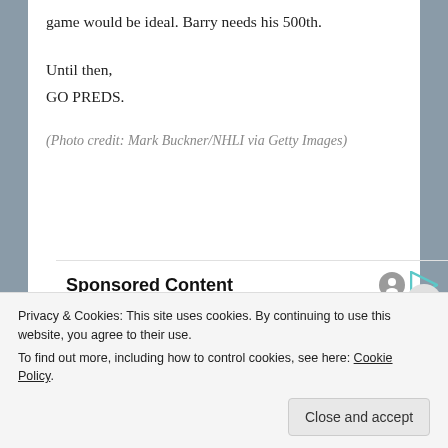game would be ideal. Barry needs his 500th.
Until then,
GO PREDS.
(Photo credit: Mark Buckner/NHLI via Getty Images)
Sponsored Content
[Figure (illustration): Illustrated portrait of an elderly man with white hair and beard wearing a wide-brimmed dark blue cowboy hat, in an advertisement]
Privacy & Cookies: This site uses cookies. By continuing to use this website, you agree to their use.
To find out more, including how to control cookies, see here: Cookie Policy
Close and accept